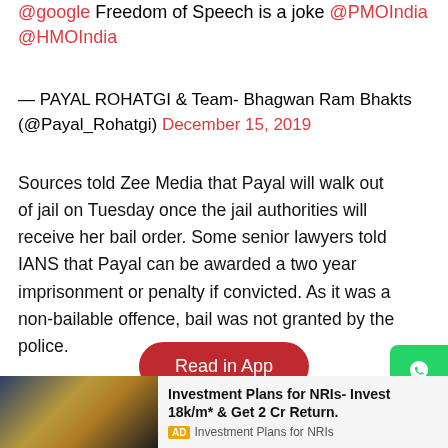@google Freedom of Speech is a joke @PMOIndia @HMOIndia
— PAYAL ROHATGI & Team- Bhagwan Ram Bhakts (@Payal_Rohatgi) December 15, 2019
Sources told Zee Media that Payal will walk out of jail on Tuesday once the jail authorities will receive her bail order. Some senior lawyers told IANS that Payal can be awarded a two year imprisonment or penalty if convicted. As it was a non-bailable offence, bail was not granted by the police.
[Figure (screenshot): Read in App button (red pill-shaped button) with red underline below]
Live Tv
[Figure (screenshot): Advertisement banner: Investment Plans for NRIs- Invest 18k/m* & Get 2 Cr Return. AD Investment Plans for NRIs]